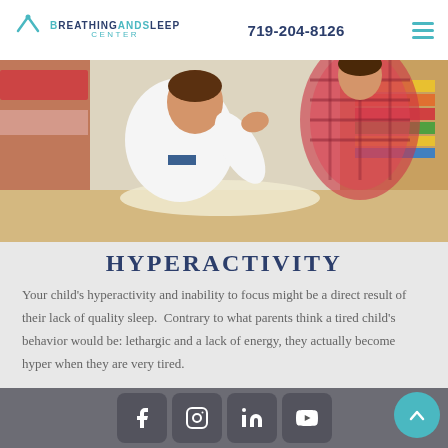BREATHING AND SLEEP CENTER  719-204-8126
[Figure (photo): A young boy in a white shirt gesturing with his hand while sitting at a table, with a book or colorful object in the background; an adult in a plaid shirt is partially visible beside him.]
HYPERACTIVITY
Your child's hyperactivity and inability to focus might be a direct result of their lack of quality sleep.  Contrary to what parents think a tired child's behavior would be: lethargic and a lack of energy, they actually become hyper when they are very tired.